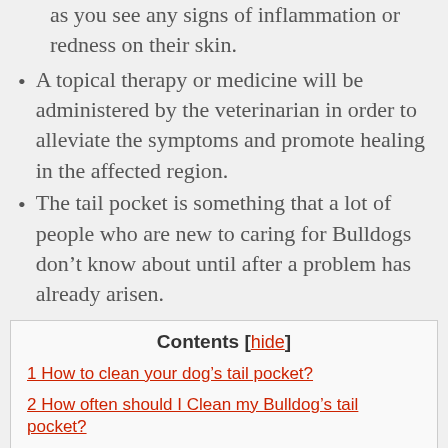as you see any signs of inflammation or redness on their skin.
A topical therapy or medicine will be administered by the veterinarian in order to alleviate the symptoms and promote healing in the affected region.
The tail pocket is something that a lot of people who are new to caring for Bulldogs don't know about until after a problem has already arisen.
Contents [hide]
1 How to clean your dog's tail pocket?
2 How often should I Clean my Bulldog's tail pocket?